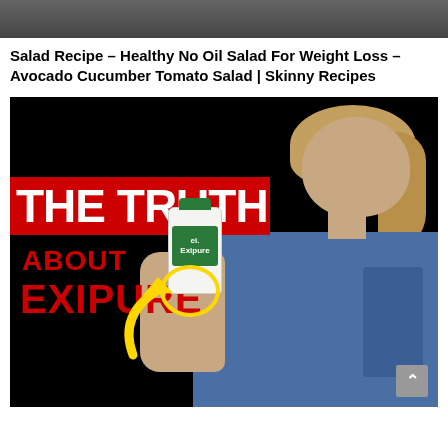[Figure (screenshot): Top strip of a dark/gray screenshot of a video thumbnail from a recipe channel]
Salad Recipe – Healthy No Oil Salad For Weight Loss – Avocado Cucumber Tomato Salad | Skinny Recipes
[Figure (screenshot): Video thumbnail with black background showing a woman holding a bottle of Exipure supplement. Large text overlay reads THE TRUTH in white on red banner, ABOUT in red, EXIPURE in red. A yellow circle highlights something on the bottle and a yellow arrow points to it. A scroll-to-top button is visible at bottom right.]